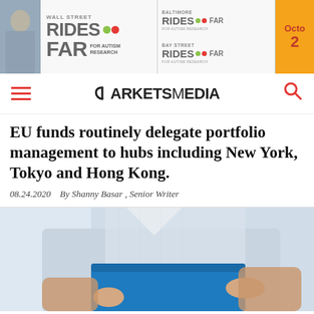[Figure (photo): Banner advertisement for Wall Street Rides Far, Baltimore Rides Far, and Bay Street Rides Far for Autism Research events, with an orange panel showing 'Octo 2' partially visible]
MARKETS MEDIA
EU funds routinely delegate portfolio management to hubs including New York, Tokyo and Hong Kong.
08.24.2020   By Shanny Basar , Senior Writer
[Figure (photo): Photo of a person in a light blue button-up shirt holding a blue folder/binder, cropped at chest level]